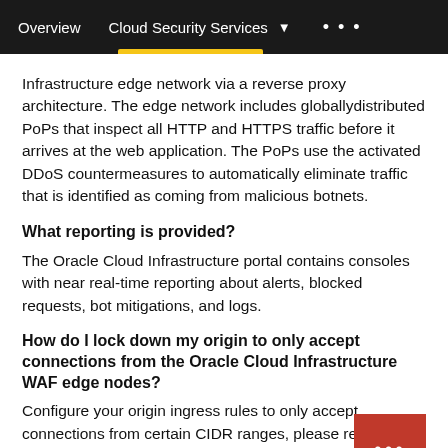Overview   Cloud Security Services ▾   • • •
Infrastructure edge network via a reverse proxy architecture. The edge network includes globallydistributed PoPs that inspect all HTTP and HTTPS traffic before it arrives at the web application. The PoPs use the activated DDoS countermeasures to automatically eliminate traffic that is identified as coming from malicious botnets.
What reporting is provided?
The Oracle Cloud Infrastructure portal contains consoles with near real-time reporting about alerts, blocked requests, bot mitigations, and logs.
How do I lock down my origin to only accept connections from the Oracle Cloud Infrastructure WAF edge nodes?
Configure your origin ingress rules to only accept connections from certain CIDR ranges, please refer Securing Your WAF in the Getting Started Guide to c